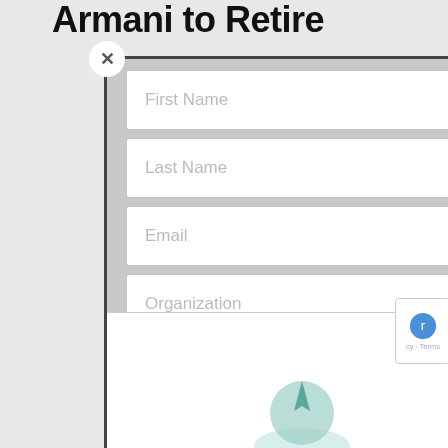Armani to Retire
[Figure (screenshot): A subscription modal dialog overlay with a close (×) button, four form fields (First Name, Last Name, Email, Organization), and a black SUBSCRIBE! button. Below the form is a white section with a partially visible reCAPTCHA badge and a teal icon at the bottom.]